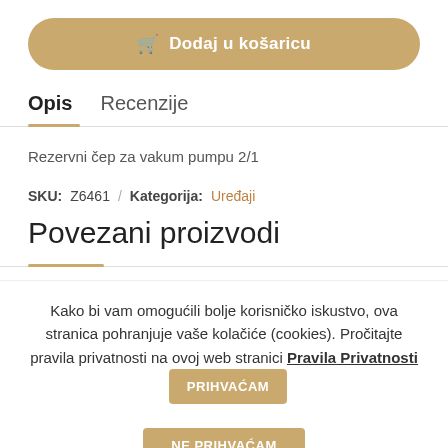[Figure (screenshot): Add to cart button with shopping cart icon, golden/tan rounded rectangle button labeled 'Dodaj u košaricu']
Opis   Recenzije
Rezervni čep za vakum pumpu 2/1
SKU: Z6461 / Kategorija: Uređaji
Povezani proizvodi
Kako bi vam omogućili bolje korisničko iskustvo, ova stranica pohranjuje vaše kolačiće (cookies). Pročitajte pravila privatnosti na ovoj web stranici Pravila Privatnosti
PRIHVAĆAM
NE PRIHVAĆAM